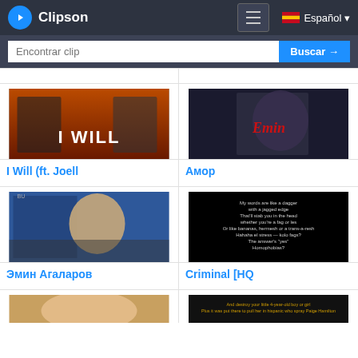Clipson — Español
Encontrar clip — Buscar →
[Figure (screenshot): Thumbnail for 'I Will (ft. Joell' showing people with fire and I WILL text]
I Will (ft. Joell
[Figure (screenshot): Thumbnail for 'Амор' showing Emin artist cover with red stylized Emin text]
Амор
[Figure (screenshot): Thumbnail for 'Эмин Агаларов' showing TV interview scene]
Эмин Агаларов
[Figure (screenshot): Thumbnail for 'Criminal [HQ' showing black background with white song lyrics text]
Criminal [HQ
[Figure (screenshot): Partial bottom thumbnail left — animal photo]
[Figure (screenshot): Partial bottom thumbnail right — black background with yellow text]